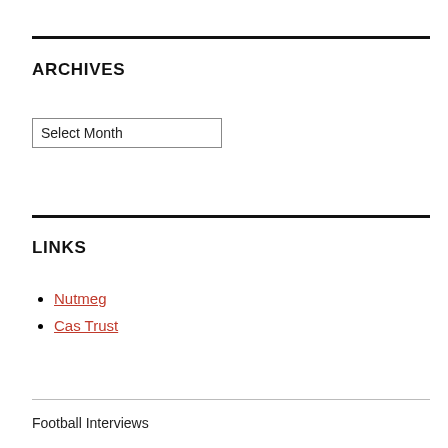ARCHIVES
Select Month
LINKS
Nutmeg
Cas Trust
Football Interviews